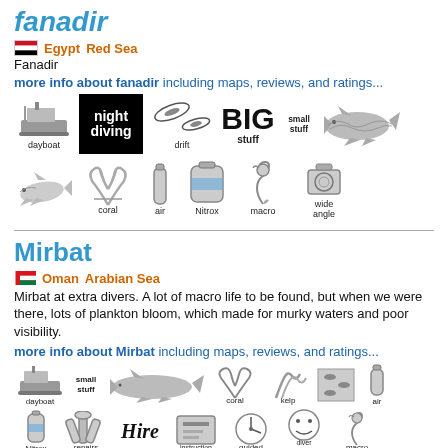fanadir
Egypt  Red Sea
Fanadir
more info about fanadir including maps, reviews, and ratings...
[Figure (infographic): Diving feature icons for Fanadir: dayboat, night diving, drift, BIG stuff, small stuff, whale shark image, dolphin image, coral, air, Nitrox, macro (seahorse), wide angle]
Mirbat
Oman  Arabian Sea
Mirbat at extra divers. A lot of macro life to be found, but when we were there, lots of plankton bloom, which made for murky waters and poor visibility.
more info about Mirbat including maps, reviews, and ratings...
[Figure (infographic): Diving feature icons for Mirbat: dayboat, small stuff, whale, coral, kelp, fish, air, Nitrox, repairs, Hire, instruction, quided, diver friendly, macro, wide, photo]